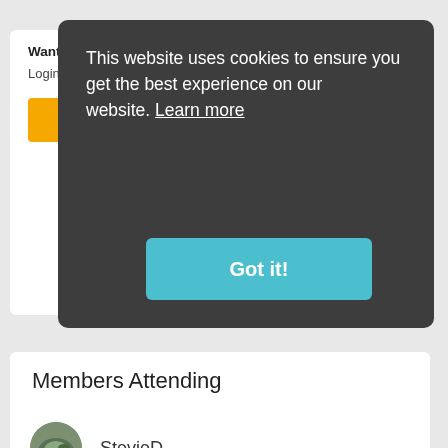Want to view the location of this event?
Login or register to view.
Register
Sign In
[Figure (screenshot): Cookie consent modal overlay with dark background. Text reads: 'This website uses cookies to ensure you get the best experience on our website. Learn more' with a 'Got it!' button in teal/cyan.]
Members Attending
StevieD
Never miss an event